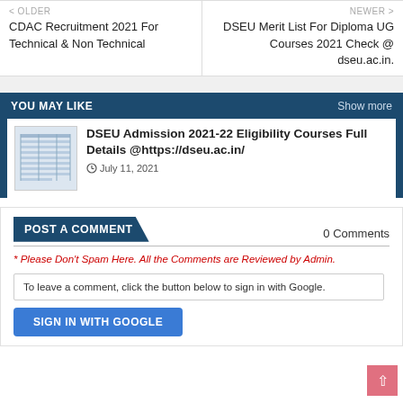< OLDER
CDAC Recruitment 2021 For Technical & Non Technical
NEWER >
DSEU Merit List For Diploma UG Courses 2021 Check @ dseu.ac.in.
YOU MAY LIKE
Show more
[Figure (other): Thumbnail image of a document/table]
DSEU Admission 2021-22 Eligibility Courses Full Details @https://dseu.ac.in/
July 11, 2021
POST A COMMENT
0 Comments
* Please Don't Spam Here. All the Comments are Reviewed by Admin.
To leave a comment, click the button below to sign in with Google.
SIGN IN WITH GOOGLE